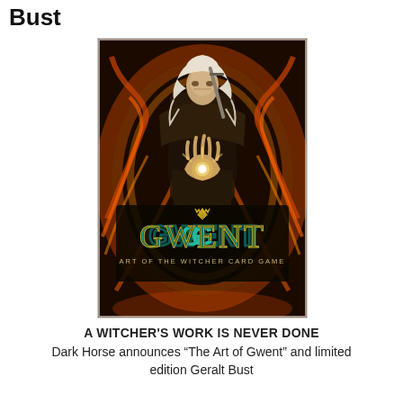Bust
[Figure (illustration): Book cover for 'Gwent: Art of the Witcher Card Game' showing Geralt of Rivia with white hair casting a magical sign, surrounded by swirling orange fire and energy effects, with the large teal 'Gwent' logo and subtitle 'Art of the Witcher Card Game' at the bottom.]
A WITCHER'S WORK IS NEVER DONE
Dark Horse announces “The Art of Gwent” and limited edition Geralt Bust